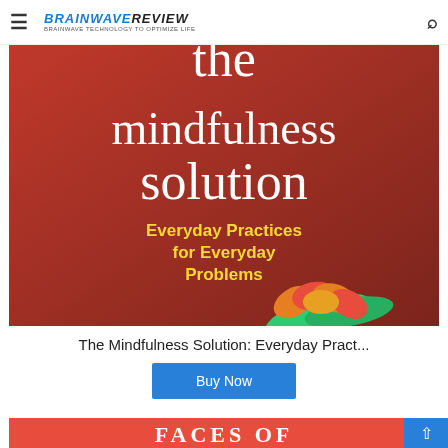BRAINWAVE REVIEW — BRAINWAVE TECHNOLOGY TO OPTIMIZE LIFE
[Figure (photo): Book cover of 'The Mindfulness Solution: Everyday Practices for Everyday Problems' — dark red background with white title text and yellow subtitle, with a lotus flower at the bottom]
The Mindfulness Solution: Everyday Pract...
Buy Now
[Figure (photo): Partial view of another book cover with red background showing 'FACES OF' in white serif text]